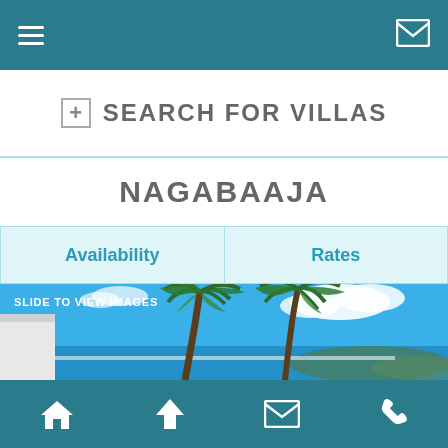≡  [mail icon]
⊞  SEARCH FOR VILLAS
NAGABAAJA
| Availability | Rates |
| --- | --- |
[Figure (photo): Tropical villa photo showing two palm trees against a bright blue sky with white clouds, ocean and hills visible in the background, a white building structure on the left side. Text overlay reads SLIDE TO VIEW IMAGES.]
🏠  ↑  ✉  📞